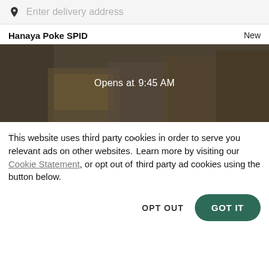Enter delivery address
Hanaya Poke SPID
New
[Figure (photo): Food photo showing various dishes including fries, burgers, fried chicken, and desserts viewed from above, overlaid with a dark semi-transparent film. Text overlay reads: Opens at 9:45 AM]
This website uses third party cookies in order to serve you relevant ads on other websites. Learn more by visiting our Cookie Statement, or opt out of third party ad cookies using the button below.
OPT OUT
GOT IT